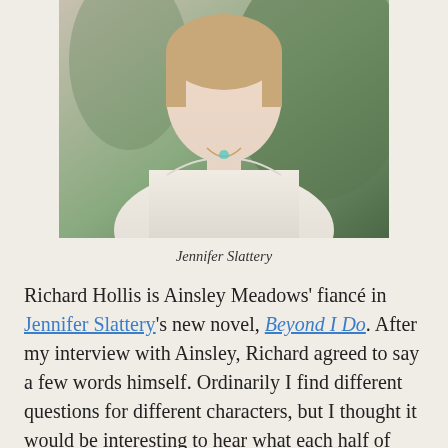[Figure (photo): Portrait photo of Jennifer Slattery, a woman wearing a white sleeveless top and necklace, with a green outdoor background.]
Jennifer Slattery
Richard Hollis is Ainsley Meadows' fiancé in Jennifer Slattery's new novel, Beyond I Do. After my interview with Ainsley, Richard agreed to say a few words himself. Ordinarily I find different questions for different characters, but I thought it would be interesting to hear what each half of this couple